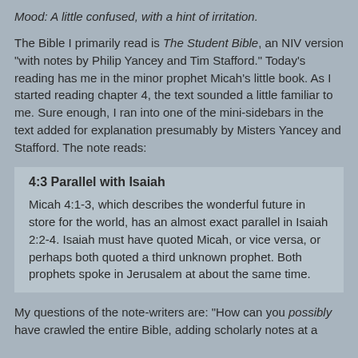Mood: A little confused, with a hint of irritation.
The Bible I primarily read is The Student Bible, an NIV version "with notes by Philip Yancey and Tim Stafford." Today's reading has me in the minor prophet Micah's little book. As I started reading chapter 4, the text sounded a little familiar to me. Sure enough, I ran into one of the mini-sidebars in the text added for explanation presumably by Misters Yancey and Stafford. The note reads:
4:3 Parallel with Isaiah
Micah 4:1-3, which describes the wonderful future in store for the world, has an almost exact parallel in Isaiah 2:2-4. Isaiah must have quoted Micah, or vice versa, or perhaps both quoted a third unknown prophet. Both prophets spoke in Jerusalem at about the same time.
My questions of the note-writers are: "How can you possibly have crawled the entire Bible, adding scholarly notes at a